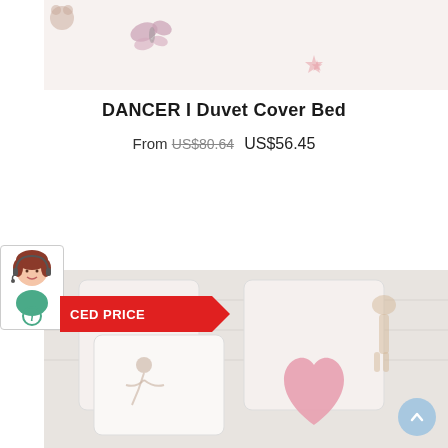[Figure (photo): Top portion of a children's bedding product image showing white fabric with pink butterfly and star motifs]
DANCER I Duvet Cover Bed
From US$80.64 US$56.45
[Figure (illustration): Customer service chat widget showing a cartoon girl with headset and info icon]
[Figure (infographic): Red arrow-shaped badge reading 'REDUCED PRICE']
[Figure (photo): Children's bedroom pillows and cushions with ballerina dancer motifs on white fabric, pink decorative pillow shaped like a heart]